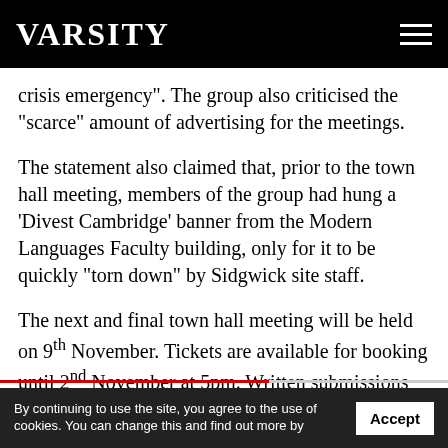VARSITY
crisis emergency”. The group also criticised the “scarce” amount of advertising for the meetings.
The statement also claimed that, prior to the town hall meeting, members of the group had hung a ‘Divest Cambridge’ banner from the Modern Languages Faculty building, only for it to be quickly “torn down” by Sidgwick site staff.
The next and final town hall meeting will be held on 9th November. Tickets are available for booking until 2nd November at 5pm. Written submissions must also be sent in before this time.
Support Varsity
By continuing to use the site, you agree to the use of cookies. You can change this and find out more by